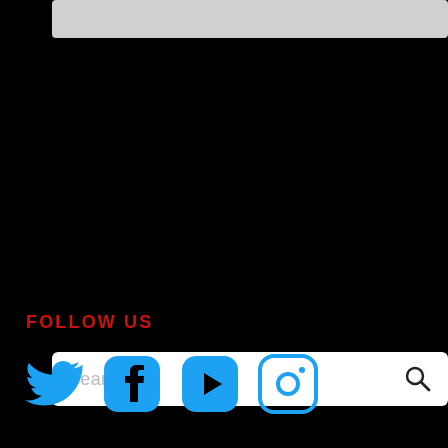[Figure (other): Gray rectangular banner/image placeholder at the top of the page]
Search...
FOLLOW US
[Figure (other): Social media icons: Twitter (bird), Facebook (f), YouTube (play button), Instagram (camera) — all in blue on black background]